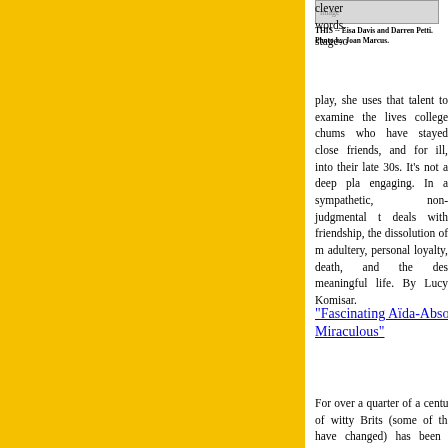[Figure (photo): Photo of Eisa Davis and Darren Petti, partial view at top of page]
THIS -- Eisa Davis and Darren Petti. Photo by Joan Marcus.
clever words. stage-o play, she uses that talent to examine the lives college chums who have stayed close friends, and for ill, into their late 30s. It's not a deep pla engaging. In a sympathetic, non-judgmental t deals with friendship, the dissolution of m adultery, personal loyalty, death, and the des meaningful life. By Lucy Komisar.
"Fascinating Aïda-Absolutely Miraculous"
For over a quarter of a century, a trio of witty Brits (some of the names have changed) has been amusing audiences with pointed political musical satire and a few jabs at socia
[Figure (photo): Photo of Fascinating Aida performers - Dillie Keane, Anderson, Liza Pulman]
FASCINATING AIDA -- Dillie Keane, Ac Anderson, Liza Pulman. Photo by And Bradshaw.